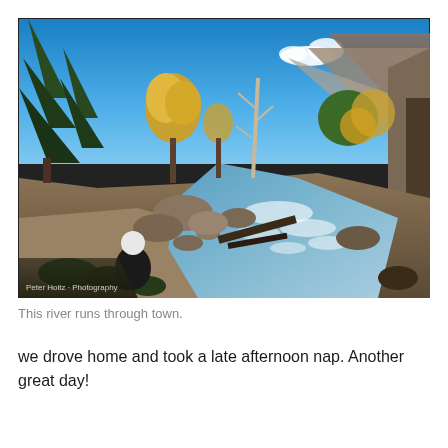[Figure (photo): Outdoor nature photograph of a rocky mountain river with rushing white water, surrounded by trees with autumn foliage in yellow and green. Rocky canyon walls and mountains visible in background under a bright blue sky with small white clouds. A person with white hair crouches in the lower left foreground. A watermark reading 'Peter Holtz Photography' appears in the lower left of the photo.]
This river runs through town.
we drove home and took a late afternoon nap. Another great day!